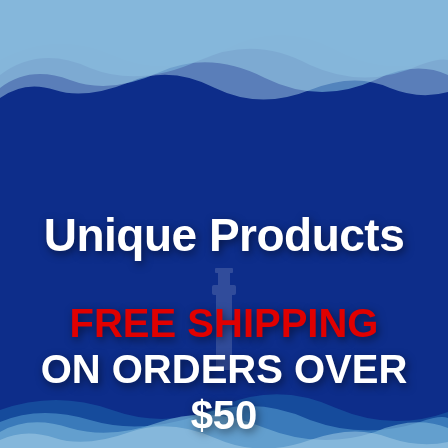[Figure (illustration): Dark blue ocean/water background with wave decorations at top and bottom. A faint lighthouse silhouette is visible in the upper center of the image.]
Unique Products
FREE SHIPPING ON ORDERS OVER $50